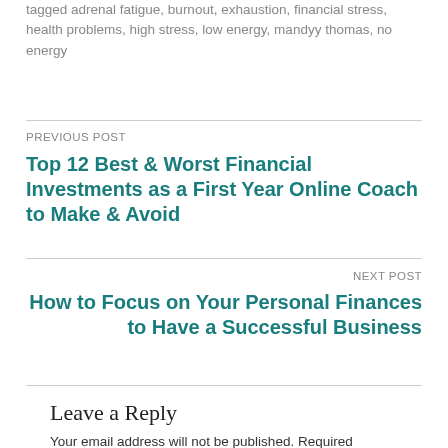tagged adrenal fatigue, burnout, exhaustion, financial stress, health problems, high stress, low energy, mandyy thomas, no energy
PREVIOUS POST
Top 12 Best & Worst Financial Investments as a First Year Online Coach to Make & Avoid
NEXT POST
How to Focus on Your Personal Finances to Have a Successful Business
Leave a Reply
Your email address will not be published. Required